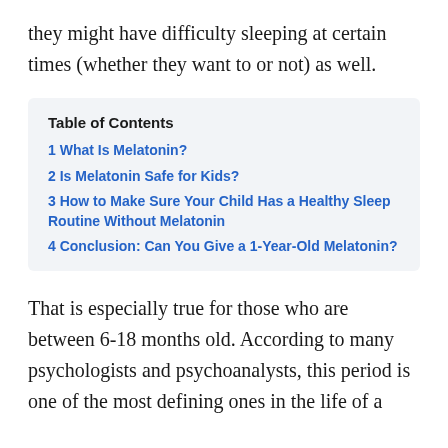they might have difficulty sleeping at certain times (whether they want to or not) as well.
| Table of Contents |
| --- |
| 1 What Is Melatonin? |
| 2 Is Melatonin Safe for Kids? |
| 3 How to Make Sure Your Child Has a Healthy Sleep Routine Without Melatonin |
| 4 Conclusion: Can You Give a 1-Year-Old Melatonin? |
That is especially true for those who are between 6-18 months old. According to many psychologists and psychoanalysts, this period is one of the most defining ones in the life of a